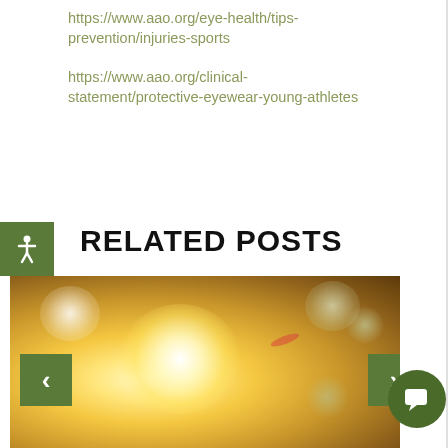https://www.aao.org/eye-health/tips-prevention/injuries-sports
https://www.aao.org/clinical-statement/protective-eyewear-young-athletes
RELATED POSTS
[Figure (photo): Blurred bokeh photo of bright sunlight with warm golden tones and circular light orbs, used as a thumbnail for a related post about eye health]